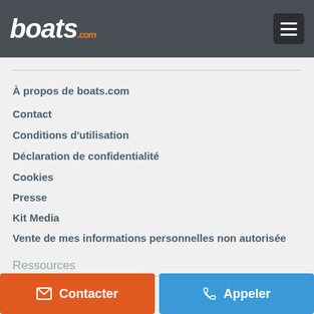boats.com
À propos de boats.com
Contact
Conditions d'utilisation
Déclaration de confidentialité
Cookies
Presse
Kit Media
Vente de mes informations personnelles non autorisée
Ressources
Assurance
Suivre boats.com